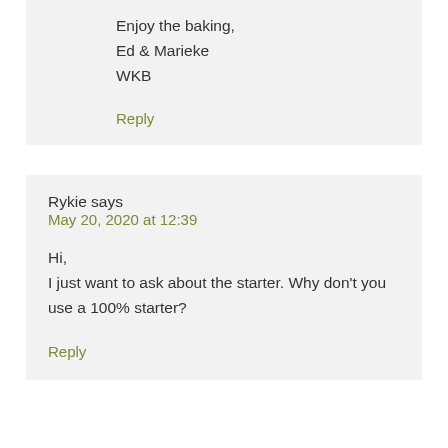Enjoy the baking,
Ed & Marieke
WKB
Reply
Rykie says
May 20, 2020 at 12:39
Hi,
I just want to ask about the starter. Why don't you use a 100% starter?
Reply